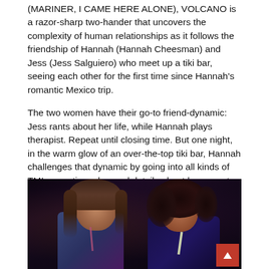(MARINER, I CAME HERE ALONE), VOLCANO is a razor-sharp two-hander that uncovers the complexity of human relationships as it follows the friendship of Hannah (Hannah Cheesman) and Jess (Jess Salguiero) who meet up a tiki bar, seeing each other for the first time since Hannah's romantic Mexico trip.
The two women have their go-to friend-dynamic: Jess rants about her life, while Hannah plays therapist. Repeat until closing time. But one night, in the warm glow of an over-the-top tiki bar, Hannah challenges that dynamic by going into all kinds of TMI romantic and sexual details about her recent Mexico trip with her longtime boyfriend.
[Figure (photo): Two women sitting at a tiki bar, drinking through straws. The left woman has straight brown hair and is wearing a colorful top. The right woman has curly dark hair. The scene is dimly lit with purple/blue tones. A red scroll-to-top button is visible in the lower right corner of the image.]